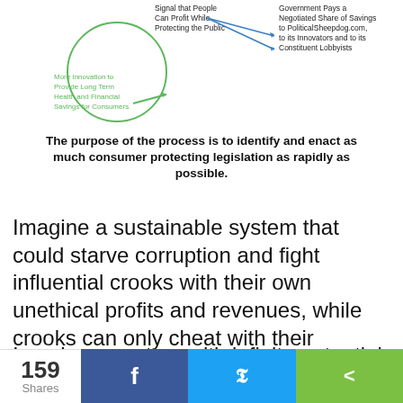[Figure (flowchart): Partial diagram showing green and blue labeled arrows and text boxes. Labels include: 'Signal that People Can Profit While Protecting the Public', 'More Innovation to Provide Long Term Health and Financial Savings for Consumers', 'Government Pays a Negotiated Share of Savings to PoliticalSheepdog.com, to its Innovators and to its Constituent Lobbyists']
The purpose of the process is to identify and enact as much consumer protecting legislation as rapidly as possible.
Imagine a sustainable system that could starve corruption and fight influential crooks with their own unethical profits and revenues, while crooks can only cheat with their devious profits.
Imagine a system with infinite potential benefits for your family and humanity, if you join and participate.